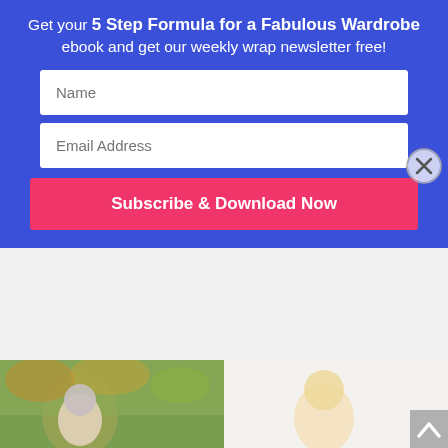Get your 5 Step Formula for a Fabulous Wardrobe ebook and get our weekly wrap newsletter free!
[Figure (screenshot): Email signup overlay form with Name field, Email Address field, and Subscribe & Download Now button on blue background with close X button]
day. Our brain's daily decision-making power is finite, meaning the more decisions we make, the harder it becomes to make another one. Wearing the same thing repeatedly saves your decision-making power. I've found my mind is sharper throughout the day when it's not bogged down in the morning trying to...
[Figure (photo): Photo of older woman with grey hair and glasses smiling outdoors among autumn foliage]
[Figure (photo): Photo of blonde woman smiling indoors in bright setting]